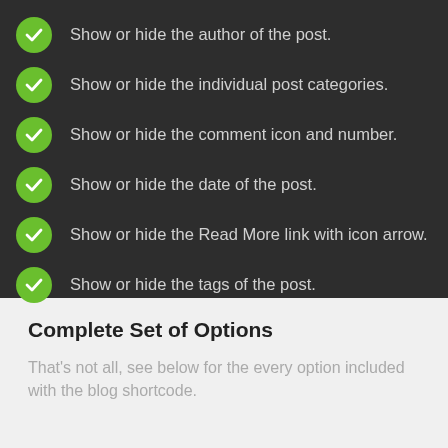Show or hide the author of the post.
Show or hide the individual post categories.
Show or hide the comment icon and number.
Show or hide the date of the post.
Show or hide the Read More link with icon arrow.
Show or hide the tags of the post.
Complete Set of Options
That's not all, see below for the every option included with the blog shortcode.